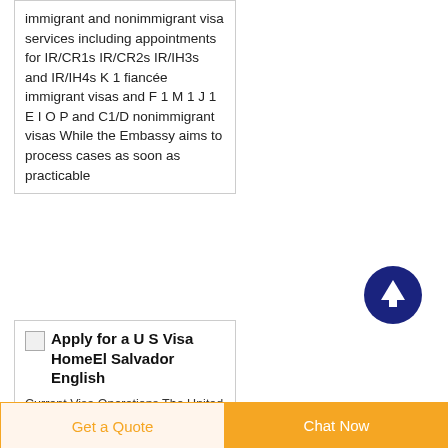immigrant and nonimmigrant visa services including appointments for IR/CR1s IR/CR2s IR/IH3s and IR/IH4s K 1 fiancée immigrant visas and F 1 M 1 J 1 E I O P and C1/D nonimmigrant visas While the Embassy aims to process cases as soon as practicable
[Figure (other): Dark navy blue circular scroll-to-top button with white upward arrow icon]
Apply for a U S Visa HomeEl Salvador English
Current Visa Operations The United States Embassy in El
Get a Quote
Chat Now